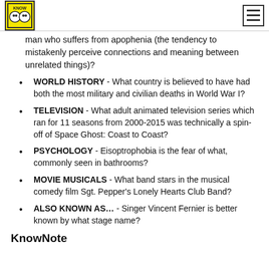[Logo] [Hamburger menu]
man who suffers from apophenia (the tendency to mistakenly perceive connections and meaning between unrelated things)?
WORLD HISTORY - What country is believed to have had both the most military and civilian deaths in World War I?
TELEVISION - What adult animated television series which ran for 11 seasons from 2000-2015 was technically a spin-off of Space Ghost: Coast to Coast?
PSYCHOLOGY - Eisoptrophobia is the fear of what, commonly seen in bathrooms?
MOVIE MUSICALS - What band stars in the musical comedy film Sgt. Pepper's Lonely Hearts Club Band?
ALSO KNOWN AS… - Singer Vincent Fernier is better known by what stage name?
KnowNote